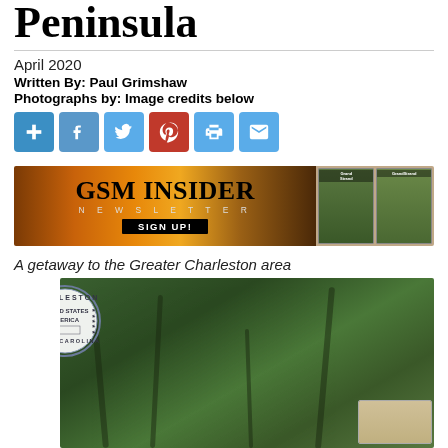Peninsula
April 2020
Written By: Paul Grimshaw
Photographs by: Image credits below
[Figure (infographic): Social sharing icons: add, Facebook, Twitter, Pinterest, print, email]
[Figure (infographic): GSM INSIDER NEWSLETTER SIGN UP! banner ad with Grand Strand magazine covers on right]
A getaway to the Greater Charleston area
[Figure (photo): Photo of large moss-draped oak trees from below, with Charleston South Carolina United States America circular seal/stamp overlaid on the left side, and a small card or postcard visible in the lower right corner]